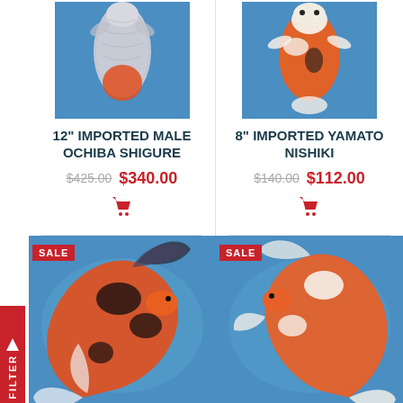[Figure (photo): Top-down view of a koi fish (Ochiba Shigure) on blue background, upper half visible]
12" IMPORTED MALE OCHIBA SHIGURE
$425.00 $340.00
[Figure (photo): Top-down view of an orange and white koi fish (Yamato Nishiki) on blue background]
8" IMPORTED YAMATO NISHIKI
$140.00 $112.00
[Figure (photo): SALE - Full body photo of a black and orange koi fish curved on blue background]
[Figure (photo): SALE - Full body photo of an orange and white koi fish curved on blue background]